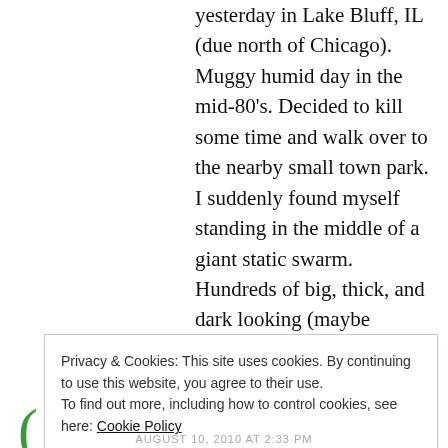yesterday in Lake Bluff, IL (due north of Chicago). Muggy humid day in the mid-80's. Decided to kill some time and walk over to the nearby small town park. I suddenly found myself standing in the middle of a giant static swarm. Hundreds of big, thick, and dark looking (maybe greenish?) dragonflies hunting around and around for what I assume to be mosquitos. First time I've ever seen one. Simply amazing. Like watching old WWI fighter planes in a dogfight…
REPLY
Privacy & Cookies: This site uses cookies. By continuing to use this website, you agree to their use.
To find out more, including how to control cookies, see here: Cookie Policy
Close and accept
AUGUST 10, 2010 AT 2:33 PM